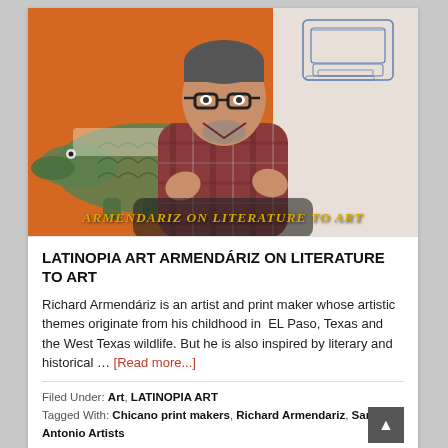[Figure (photo): Video thumbnail showing a man with glasses and plaid shirt gesturing with his hands, seated in front of an orange flag/banner with a crocodile illustration and a sketch of what appears to be a typewriter on the right side. Text overlay reads 'ARMENDARIZ ON LITERATURE TO ART' in gold italic letters at the bottom.]
LATINOPIA ART ARMENDÁRIZ ON LITERATURE TO ART
Richard Armendáriz is an artist and print maker whose artistic themes originate from his childhood in  EL Paso, Texas and the West Texas wildlife. But he is also inspired by literary and historical … [Read more...]
Filed Under: Art, LATINOPIA ART
Tagged With: Chicano print makers, Richard Armendariz, San Antonio Artists